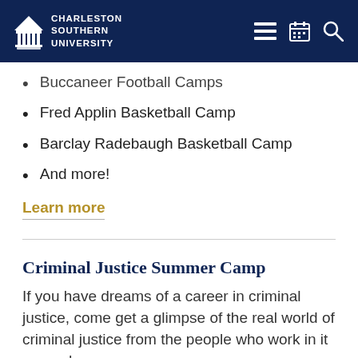Charleston Southern University
Buccaneer Football Camps
Fred Applin Basketball Camp
Barclay Radebaugh Basketball Camp
And more!
Learn more
Criminal Justice Summer Camp
If you have dreams of a career in criminal justice, come get a glimpse of the real world of criminal justice from the people who work in it every day.